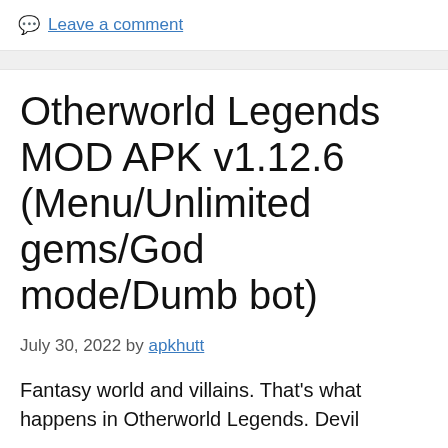Leave a comment
Otherworld Legends MOD APK v1.12.6 (Menu/Unlimited gems/God mode/Dumb bot)
July 30, 2022 by apkhutt
Fantasy world and villains. That’s what happens in Otherworld Legends. Devil